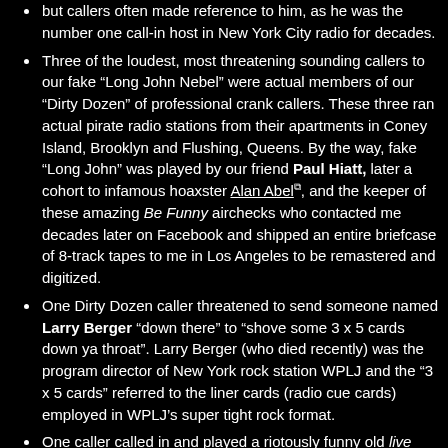but callers often made reference to him, as he was the number one call-in host in New York City radio for decades.
Three of the loudest, most threatening sounding callers to our fake “Long John Nebel” were actual members of our “Dirty Dozen” of professional crank callers. These three ran actual pirate radio stations from their apartments in Coney Island, Brooklyn and Flushing, Queens. By the way, fake “Long John” was played by our friend Paul Hiatt, later a cohort to infamous hoaxster Alan Abel, and the keeper of these amazing Be Funny airchecks who contacted me decades later on Facebook and shipped an entire briefcase of 8-track tapes to me in Los Angeles to be remastered and digitized.
One Dirty Dozen caller threatened to send someone named Larry Berger “down there” to “shove some 3 x 5 cards down ya throat”. Larry Berger (who died recently) was the program director of New York rock station WPLJ and the “3 x 5 cards” referred to the liner cards (radio cue cards) employed in WPLJ’s super tight rock format.
One caller called in and played a riotously funny old live